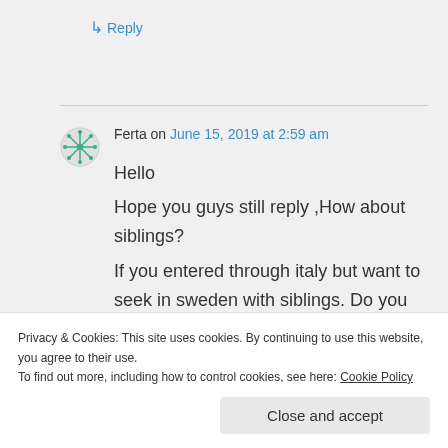↳ Reply
Ferta on June 15, 2019 at 2:59 am
Hello

Hope you guys still reply ,How about siblings?
If you entered through italy but want to seek in sweden with siblings. Do you think its possible?
Privacy & Cookies: This site uses cookies. By continuing to use this website, you agree to their use.
To find out more, including how to control cookies, see here: Cookie Policy
Close and accept